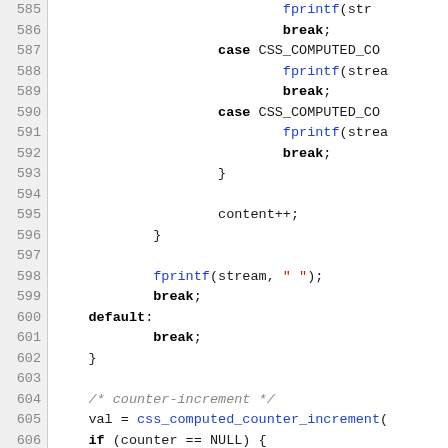[Figure (screenshot): Source code listing showing C code with line numbers 585-615, displaying switch/case statements, fprintf calls, and counter-increment logic with color-coded syntax highlighting (keywords in bold black, function names in blue, string literals in red, comments in gray italic).]